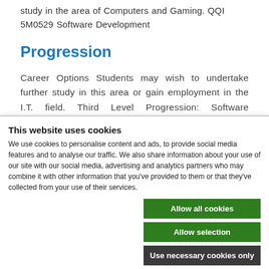study in the area of Computers and Gaming. QQI 5M0529 Software Development
Progression
Career Options Students may wish to undertake further study in this area or gain employment in the I.T. field. Third Level Progression: Software Development
This website uses cookies
We use cookies to personalise content and ads, to provide social media features and to analyse our traffic. We also share information about your use of our site with our social media, advertising and analytics partners who may combine it with other information that you've provided to them or that they've collected from your use of their services.
Allow all cookies
Allow selection
Use necessary cookies only